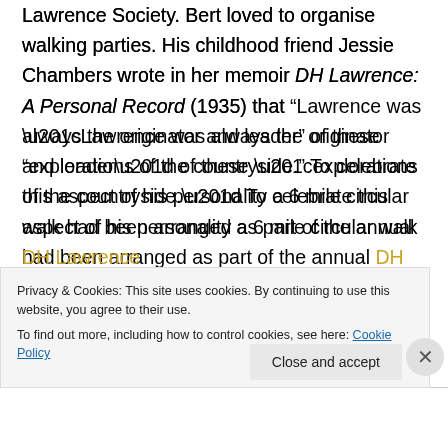Lawrence Society. Bert loved to organise walking parties. His childhood friend Jessie Chambers wrote in her memoir DH Lawrence: A Personal Record (1935) that “Lawrence was always the originator and leader” of these “explorations of the countryside.” To celebrate this aspect of his personality a 6 mile circular walk had been arranged as part of the annual DH Lawrence festival to visit the ruined 12th century Godner...
Privacy & Cookies: This site uses cookies. By continuing to use this website, you agree to their use. To find out more, including how to control cookies, see here: Cookie Policy
Close and accept